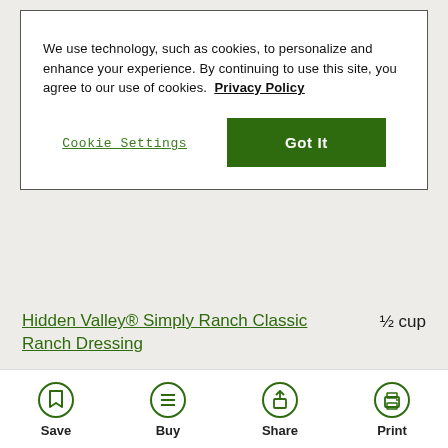We use technology, such as cookies, to personalize and enhance your experience. By continuing to use this site, you agree to our use of cookies. Privacy Policy
Cookie Settings
Got It
Hidden Valley® Simply Ranch Classic Ranch Dressing   ½ cup
[Figure (photo): Green Hidden Valley ranch dressing bottle, partially visible]
Save
Buy
Share
Print